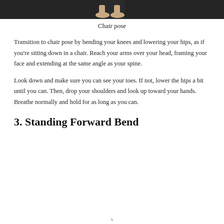[Figure (photo): Cropped photo showing feet/legs on a dark yoga mat or floor, bottom portion of a person in chair pose]
Chair pose
Transition to chair pose by bending your knees and lowering your hips, as if you're sitting down in a chair. Reach your arms over your head, framing your face and extending at the same angle as your spine.
Look down and make sure you can see your toes. If not, lower the hips a bit until you can. Then, drop your shoulders and look up toward your hands. Breathe normally and hold for as long as you can.
3. Standing Forward Bend
x